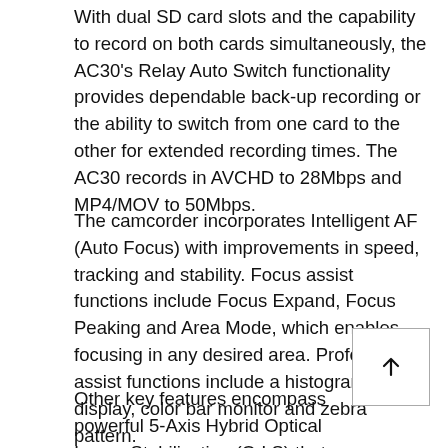With dual SD card slots and the capability to record on both cards simultaneously, the AC30's Relay Auto Switch functionality provides dependable back-up recording or the ability to switch from one card to the other for extended recording times. The AC30 records in AVCHD to 28Mbps and MP4/MOV to 50Mbps.
The camcorder incorporates Intelligent AF (Auto Focus) with improvements in speed, tracking and stability. Focus assist functions include Focus Expand, Focus Peaking and Area Mode, which enables focusing in any desired area. Professional assist functions include a histogram display, color bar monitor and zebra pattern.
Other key features encompass powerful 5-Axis Hybrid Optical Image Stabilization (O.I.S) that thoroughly suppresses blurring all the way from wide-angle powerful zoom shots, and a three-manual, multi-purpose lens ring that provides fine adjustments and